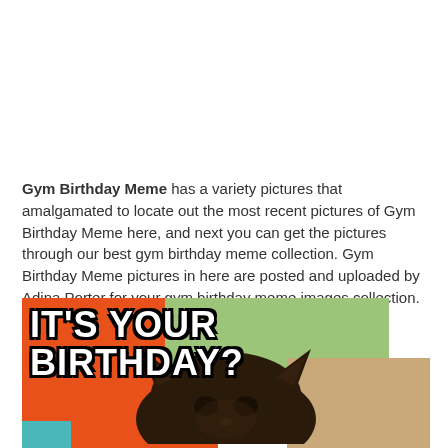Gym Birthday Meme has a variety pictures that amalgamated to locate out the most recent pictures of Gym Birthday Meme here, and next you can get the pictures through our best gym birthday meme collection. Gym Birthday Meme pictures in here are posted and uploaded by Adina Porter for your gym birthday meme images collection. The images that existed in Gym Birthday Meme are consisting of best images and high setting pictures.
[Figure (illustration): A meme image with colorful background (orange, green, tan, teal) featuring a dark cat/dog looking upward, with large bold white text reading IT'S YOUR BIRTHDAY?]